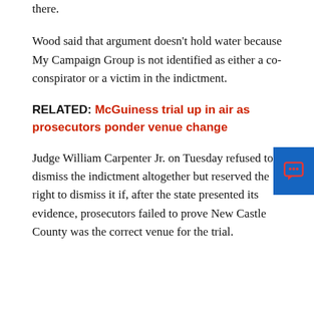there.
Wood said that argument doesn't hold water because My Campaign Group is not identified as either a co-conspirator or a victim in the indictment.
RELATED: McGuiness trial up in air as prosecutors ponder venue change
Judge William Carpenter Jr. on Tuesday refused to dismiss the indictment altogether but reserved the right to dismiss it if, after the state presented its evidence, prosecutors failed to prove New Castle County was the correct venue for the trial.